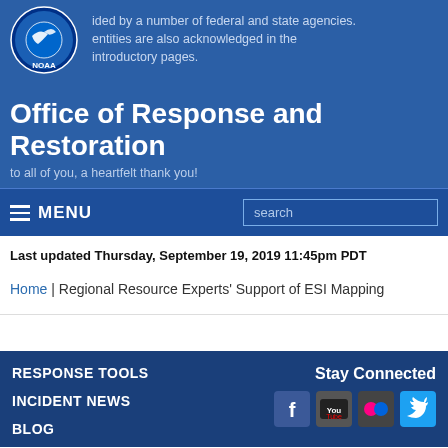[Figure (logo): NOAA circular logo with blue background, white text and bird graphic]
ided by a number of federal and state agencies. entities are also acknowledged in the introductory pages.
Office of Response and Restoration
to all of you, a heartfelt thank you!
MENU  search
Last updated Thursday, September 19, 2019 11:45pm PDT
Home | Regional Resource Experts' Support of ESI Mapping
RESPONSE TOOLS  INCIDENT NEWS  BLOG  Stay Connected